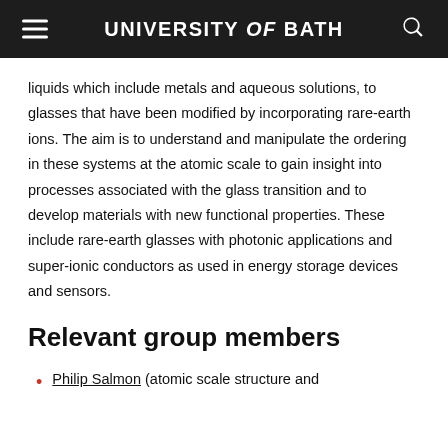UNIVERSITY of BATH
liquids which include metals and aqueous solutions, to glasses that have been modified by incorporating rare-earth ions. The aim is to understand and manipulate the ordering in these systems at the atomic scale to gain insight into processes associated with the glass transition and to develop materials with new functional properties. These include rare-earth glasses with photonic applications and super-ionic conductors as used in energy storage devices and sensors.
Relevant group members
Philip Salmon (atomic scale structure and